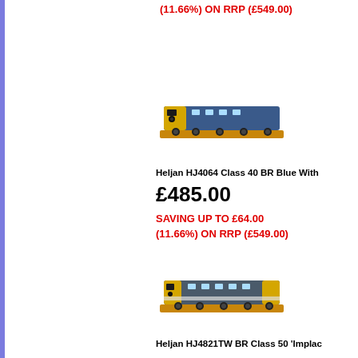(11.66%) ON RRP (£549.00)
[Figure (photo): Model train - Heljan HJ4064 Class 40 BR Blue locomotive on a wooden base, viewed from side]
Heljan HJ4064 Class 40 BR Blue With
£485.00
SAVING UP TO £64.00 (11.66%) ON RRP (£549.00)
[Figure (photo): Model train - Heljan HJ4821TW BR Class 50 Implacable locomotive on a wooden base, viewed from side]
Heljan HJ4821TW BR Class 50 'Implac
£775.00